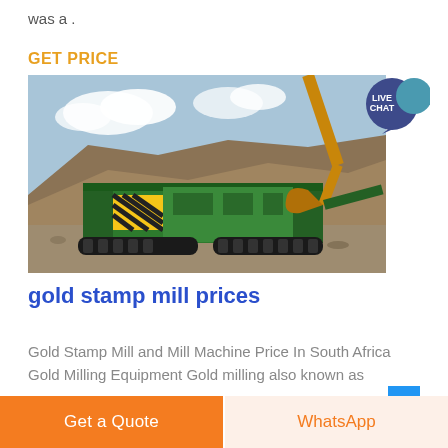was a .
GET PRICE
[Figure (photo): A large green mobile jaw crusher / mining machine on a rocky quarry site with an excavator arm overhead and blue sky in background.]
gold stamp mill prices
Gold Stamp Mill and Mill Machine Price In South Africa Gold Milling Equipment Gold milling also known as
Get a Quote
WhatsApp